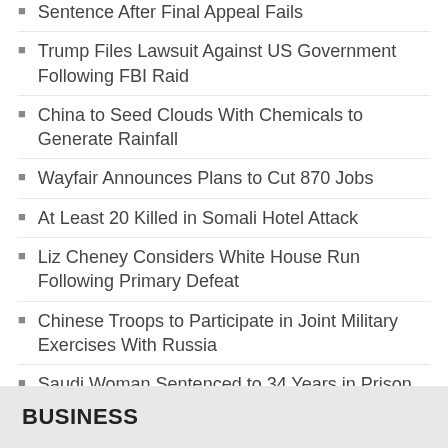Sentence After Final Appeal Fails
Trump Files Lawsuit Against US Government Following FBI Raid
China to Seed Clouds With Chemicals to Generate Rainfall
Wayfair Announces Plans to Cut 870 Jobs
At Least 20 Killed in Somali Hotel Attack
Liz Cheney Considers White House Run Following Primary Defeat
Chinese Troops to Participate in Joint Military Exercises With Russia
Saudi Woman Sentenced to 34 Years in Prison for Using Twitter
Republican Officials Blast Biden Administration Over Afghanistan Withdrawal in New Report
BUSINESS